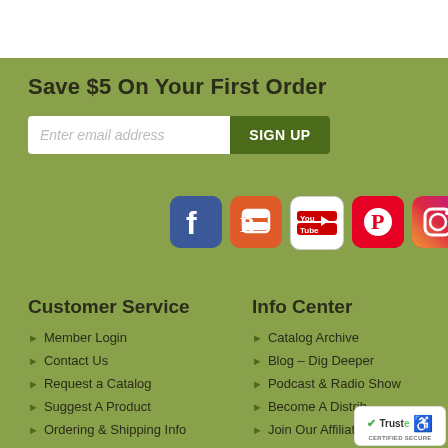Save $5 On Your First Order
Enter email address
SIGN UP
[Figure (illustration): Social media icons row: Facebook, Blogger, YouTube, Pinterest, Instagram]
Customer Service
Info Center
Member Login
Catalog Archive
Contact Us
Blog – Dig Deeper
Request a Catalog
Podcast & Radio Show
Suggest A Product
Become A Distributor
Ordering & Shipping Info
Join Our Affiliate
[Figure (logo): TrustedSite Certified Secure badge with accessibility icon]